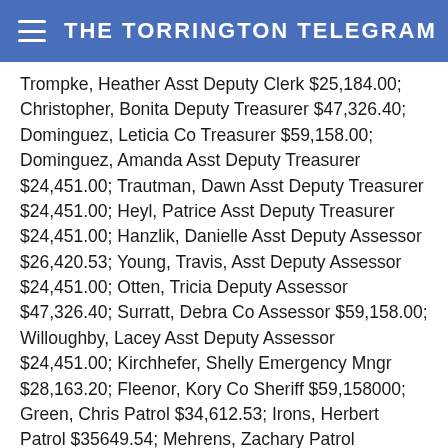THE TORRINGTON TELEGRAM
Trompke, Heather Asst Deputy Clerk $25,184.00; Christopher, Bonita Deputy Treasurer $47,326.40; Dominguez, Leticia Co Treasurer $59,158.00; Dominguez, Amanda Asst Deputy Treasurer $24,451.00; Trautman, Dawn Asst Deputy Treasurer $24,451.00; Heyl, Patrice Asst Deputy Treasurer $24,451.00; Hanzlik, Danielle Asst Deputy Assessor $26,420.53; Young, Travis, Asst Deputy Assessor $24,451.00; Otten, Tricia Deputy Assessor $47,326.40; Surratt, Debra Co Assessor $59,158.00; Willoughby, Lacey Asst Deputy Assessor $24,451.00; Kirchhefer, Shelly Emergency Mngr $28,163.20; Fleenor, Kory Co Sheriff $59,158000; Green, Chris Patrol $34,612.53; Irons, Herbert Patrol $35649.54; Mehrens, Zachary Patrol $34,612.53; Hill, Michelle Sheriff Admin